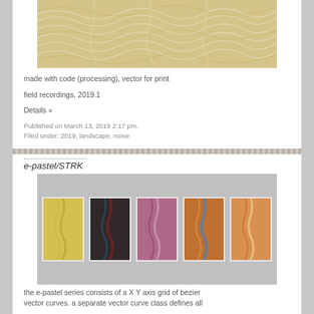[Figure (illustration): Abstract flowing wavy lines artwork in beige and golden tones, made with code (processing), vector for print]
made with code (processing), vector for print
field recordings, 2019.1
Details »
Published on March 13, 2019 2:17 pm.
Filed under: 2019, landscape, noise
e-pastel/STRK
[Figure (photo): Five vertical rectangular artworks showing colorful e-pastel/STRK series with bezier vector curves in various color schemes]
the e-pastel series consists of a X Y axis grid of bezier vector curves. a separate vector curve class defines all